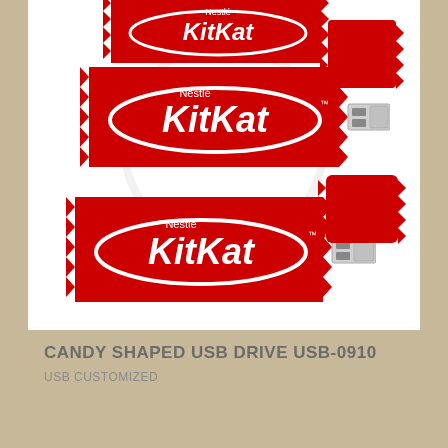[Figure (photo): Product photo of KitKat candy-shaped USB drives. Shows multiple red KitKat bar wrappers (Nestlé KitKat branding) in various configurations: a partial bar at top, a full bar with a USB connector extending from it in the middle, another bar with USB at bottom left, and two small red candy wrappers on the right side. A faint watermark/logo is visible in the background of the white image area.]
CANDY SHAPED USB DRIVE USB-0910
USB CUSTOMIZED